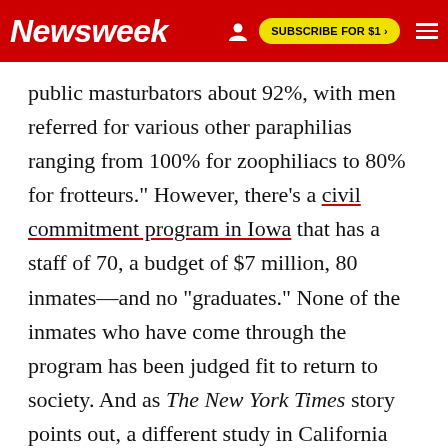Newsweek
public masturbators about 92%, with men referred for various other paraphilias ranging from 100% for zoophiliacs to 80% for frotteurs." However, there's a civil commitment program in Iowa that has a staff of 70, a budget of $7 million, 80 inmates—and no "graduates." None of the inmates who have come through the program has been judged fit to return to society. And as The New York Times story points out, a different study in California found that "those who entered relapse prevention treatment were slightly